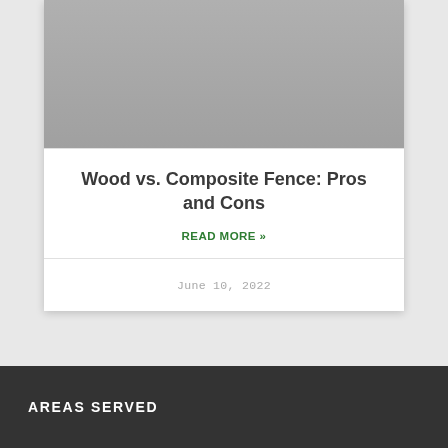[Figure (photo): Gray placeholder image at the top of a blog post card]
Wood vs. Composite Fence: Pros and Cons
READ MORE »
June 10, 2022
AREAS SERVED